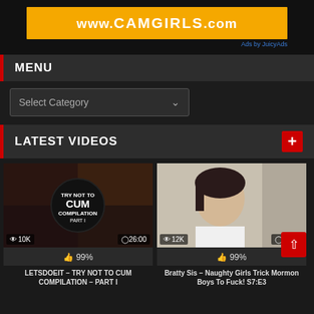[Figure (other): Advertisement banner for www.CAMGIRLS.com with orange background and 'Ads by JuicyAds' label]
MENU
Select Category
LATEST VIDEOS
[Figure (photo): Video thumbnail: LETSDOEIT – TRY NOT TO CUM COMPILATION – PART I. Shows 10K views, 26:00 duration, 99% likes]
[Figure (photo): Video thumbnail: Bratty Sis – Naughty Girls Trick Mormon Boys To Fuck! S7:E3. Shows 12K views, 11:00 duration, 99% likes]
LETSDOEIT – TRY NOT TO CUM COMPILATION – PART I
Bratty Sis – Naughty Girls Trick Mormon Boys To Fuck! S7:E3